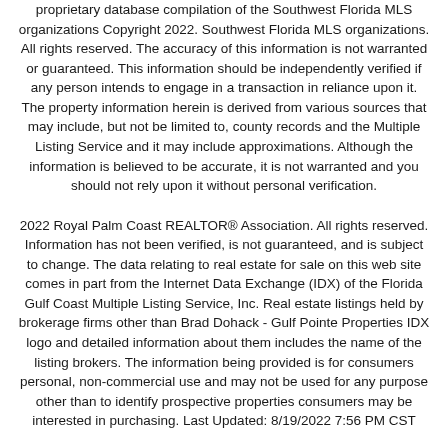proprietary database compilation of the Southwest Florida MLS organizations Copyright 2022. Southwest Florida MLS organizations. All rights reserved. The accuracy of this information is not warranted or guaranteed. This information should be independently verified if any person intends to engage in a transaction in reliance upon it. The property information herein is derived from various sources that may include, but not be limited to, county records and the Multiple Listing Service and it may include approximations. Although the information is believed to be accurate, it is not warranted and you should not rely upon it without personal verification.
2022 Royal Palm Coast REALTOR® Association. All rights reserved. Information has not been verified, is not guaranteed, and is subject to change. The data relating to real estate for sale on this web site comes in part from the Internet Data Exchange (IDX) of the Florida Gulf Coast Multiple Listing Service, Inc. Real estate listings held by brokerage firms other than Brad Dohack - Gulf Pointe Properties IDX logo and detailed information about them includes the name of the listing brokers. The information being provided is for consumers personal, non-commercial use and may not be used for any purpose other than to identify prospective properties consumers may be interested in purchasing. Last Updated: 8/19/2022 7:56 PM CST
The data relating to real estate for sale on this limited electronic display comes in part from the Southwest Florida Multiple Listing Services. Properties listed with brokerage firms other than Brad Dohack - Gulf